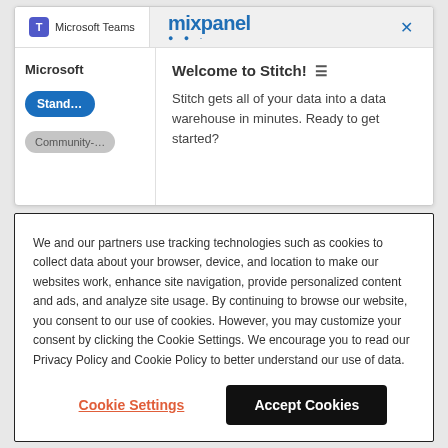[Figure (screenshot): Browser screenshot showing Microsoft Teams tab and Mixpanel tab with a Stitch welcome popup overlay. Left panel shows Microsoft heading with Standard and Community buttons. Right panel shows 'Welcome to Stitch!' heading with body text: 'Stitch gets all of your data into a data warehouse in minutes. Ready to get started?']
We and our partners use tracking technologies such as cookies to collect data about your browser, device, and location to make our websites work, enhance site navigation, provide personalized content and ads, and analyze site usage. By continuing to browse our website, you consent to our use of cookies. However, you may customize your consent by clicking the Cookie Settings. We encourage you to read our Privacy Policy and Cookie Policy to better understand our use of data.
Cookie Settings
Accept Cookies